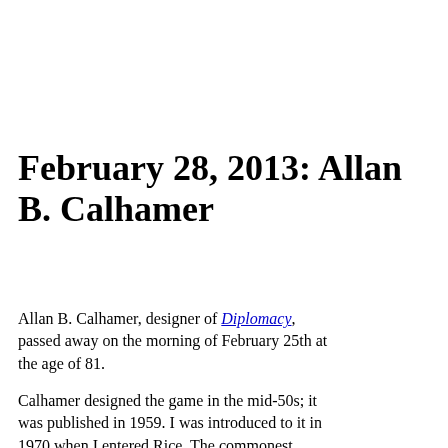February 28, 2013: Allan B. Calhamer
Allan B. Calhamer, designer of Diplomacy, passed away on the morning of February 25th at the age of 81.
Calhamer designed the game in the mid-50s; it was published in 1959. I was introduced to it in 1970 when I entered Rice. The commonest game around the [house was Rice and the...]